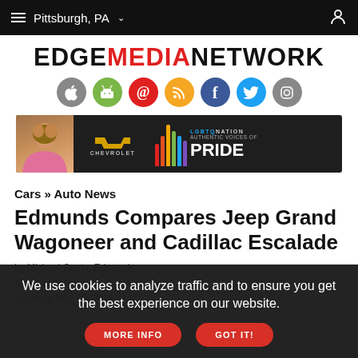Pittsburgh, PA
[Figure (logo): EDGE MEDIA NETWORK logo with social media icons]
[Figure (other): Chevrolet LGBTQ Nation Authentic Voices of PRIDE advertisement banner]
Cars » Auto News
Edmunds Compares Jeep Grand Wagoneer and Cadillac Escalade
by Michael Cantu, Edmunds
Associated Press
Saturday May 28, 2022
We use cookies to analyze traffic and to ensure you get the best experience on our website.